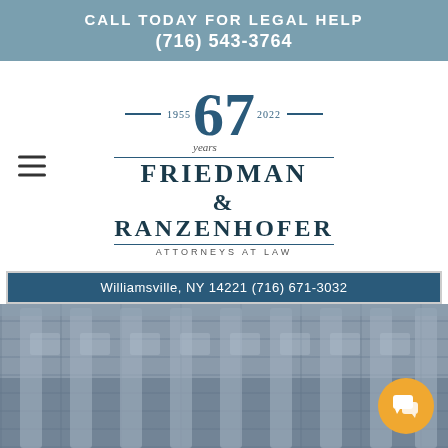CALL TODAY FOR LEGAL HELP
(716) 543-3764
[Figure (logo): Friedman & Ranzenhofer Attorneys at Law logo with 67 years (1955-2022) and address Williamsville, NY 14221 (716) 671-3032]
[Figure (photo): Background photo of a courthouse building with columns, shown in muted gray-blue tones. A chat/message button in orange is visible in the lower right corner.]